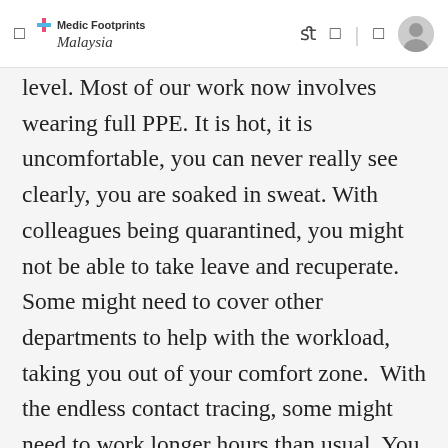Medic Footprints Malaysia
level. Most of our work now involves wearing full PPE. It is hot, it is uncomfortable, you can never really see clearly, you are soaked in sweat. With colleagues being quarantined, you might not be able to take leave and recuperate. Some might need to cover other departments to help with the workload, taking you out of your comfort zone.  With the endless contact tracing, some might need to work longer hours than usual. You have to be vigilant every time you see patients in the hospital or clinic – anyone could have the virus. You're anxious about the risk of bringing the virus home to your loved ones. That adds up to a lot more stress than your usual already high-